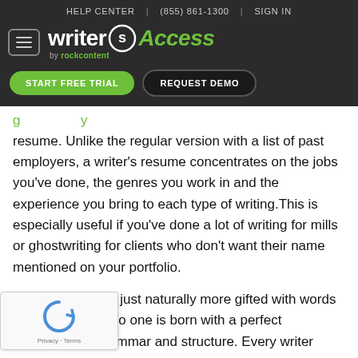HELP CENTER | (855) 861-1300 | SIGN IN
[Figure (logo): WriterAccess by rockcontent logo with hamburger menu, START FREE TRIAL and REQUEST DEMO buttons on dark background]
resume. Unlike the regular version with a list of past employers, a writer's resume concentrates on the jobs you've done, the genres you work in and the experience you bring to each type of writing.This is especially useful if you've done a lot of writing for mills or ghostwriting for clients who don't want their name mentioned on your portfolio.
Some people are just naturally more gifted with words than others, but no one is born with a perfect knowledge of grammar and structure. Every writer
[Figure (other): reCAPTCHA widget with Privacy · Terms text]